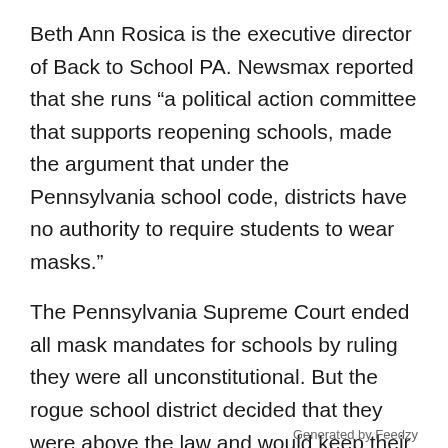Beth Ann Rosica is the executive director of Back to School PA. Newsmax reported that she runs “a political action committee that supports reopening schools, made the argument that under the Pennsylvania school code, districts have no authority to require students to wear masks.”
The Pennsylvania Supreme Court ended all mask mandates for schools by ruling they were all unconstitutional. But the rogue school district decided that they were above the law and would keep their mask mandate in place for as long as possible.
Generated by Feedzy